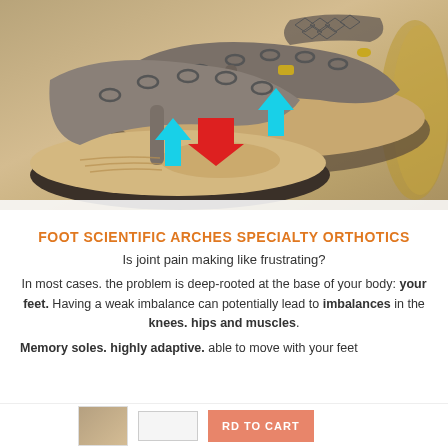[Figure (photo): Orthotic sandals shown from above on a light surface. The sandals are gray/tan with toe-post design, multiple oval cutouts/eyelets on the straps. Arrows overlaid: two cyan/teal upward arrows and one red downward arrow pointing to the arch/sole area of the sandals to indicate support zones. A woven straw accessory is visible at right.]
FOOT SCIENTIFIC ARCHES SPECIALTY ORTHOTICS
Is joint pain making like frustrating?
In most cases. the problem is deep-rooted at the base of your body: your feet. Having a weak imbalance can potentially lead to imbalances in the knees. hips and muscles.
Memory soles. highly adaptive. able to move with your feet